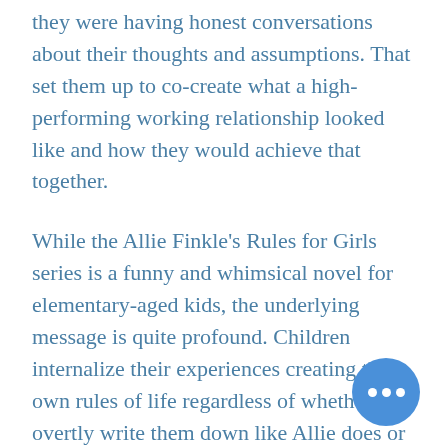they were having honest conversations about their thoughts and assumptions. That set them up to co-create what a high-performing working relationship looked like and how they would achieve that together.

While the Allie Finkle's Rules for Girls series is a funny and whimsical novel for elementary-aged kids, the underlying message is quite profound. Children internalize their experiences creating their own rules of life regardless of whether they overtly write them down like Allie does or not. And we were all children once.